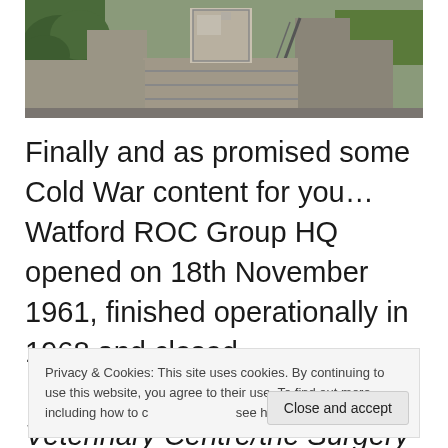[Figure (photo): Outdoor concrete staircase leading down to a door/entrance with metal railings on the right side, flanked by concrete walls, with green bushes on the left and grass on the right]
Finally and as promised some Cold War content for you…Watford ROC Group HQ opened on 18th November 1961, finished operationally in 1968 and closed
Privacy & Cookies: This site uses cookies. By continuing to use this website, you agree to their use. To find out more, including how to control cookies, see here: Cookie Policy
veterinary Centre/the Surgery and